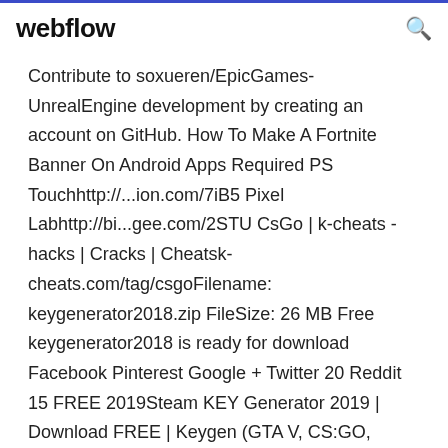webflow
Contribute to soxueren/EpicGames-UnrealEngine development by creating an account on GitHub. How To Make A Fortnite Banner On Android Apps Required PS Touchhttp://...ion.com/7iB5 Pixel Labhttp://bi...gee.com/2STU CsGo | k-cheats - hacks | Cracks | Cheatsk-cheats.com/tag/csgoFilename: keygenerator2018.zip FileSize: 26 MB Free keygenerator2018 is ready for download Facebook Pinterest Google + Twitter 20 Reddit 15 FREE 2019Steam KEY Generator 2019 | Download FREE | Keygen (GTA V, CS:GO, PUBG AND ALL TOP Games... Free mivue manager 518 download software at UpdateStar - MiVue Manager is a tool for capturing the original media...